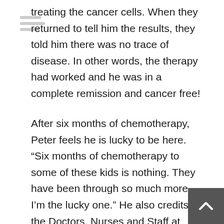treating the cancer cells. When they returned to tell him the results, they told him there was no trace of disease. In other words, the therapy had worked and he was in a complete remission and cancer free!
After six months of chemotherapy, Peter feels he is lucky to be here. “Six months of chemotherapy to some of these kids is nothing. They have been through so much more, I’m the lucky one.” He also credits the Doctors, Nurses and Staff at Maria Fareri Children’s Hospital to his healthy return. “This place is amazing. The care and hospitality here are the best in the world. The doctors and nurses are like family to me.” Peter would like to help other kids in the future that are going through the same experience. “I’d like